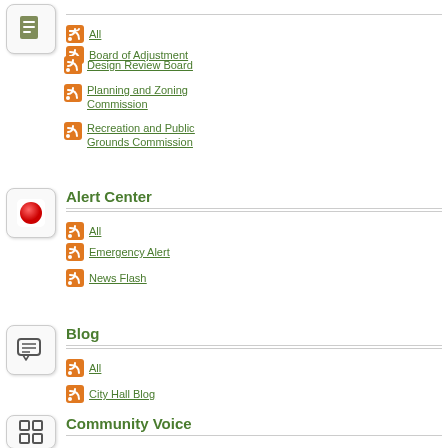All
Board of Adjustment
Design Review Board
Planning and Zoning Commission
Recreation and Public Grounds Commission
Alert Center
All
Emergency Alert
News Flash
Blog
All
City Hall Blog
Community Voice